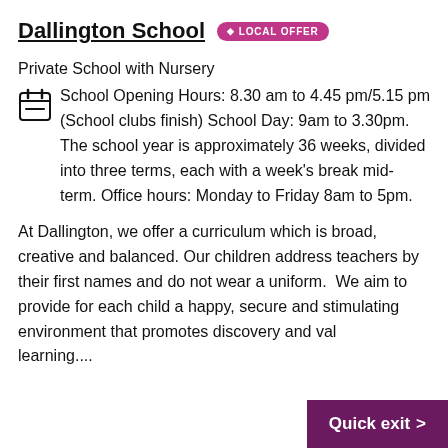Dallington School • LOCAL OFFER
Private School with Nursery
School Opening Hours: 8.30 am to 4.45 pm/5.15 pm (School clubs finish) School Day: 9am to 3.30pm. The school year is approximately 36 weeks, divided into three terms, each with a week's break mid-term. Office hours: Monday to Friday 8am to 5pm.
At Dallington, we offer a curriculum which is broad, creative and balanced. Our children address teachers by their first names and do not wear a uniform.  We aim to provide for each child a happy, secure and stimulating environment that promotes discovery and val… learning....